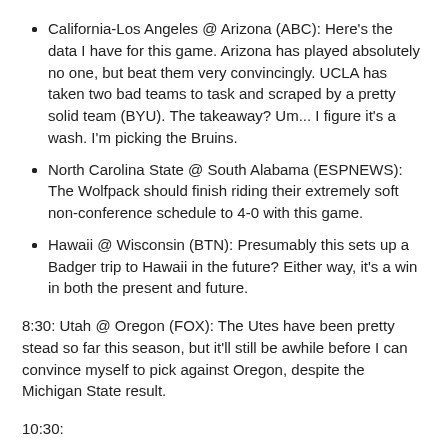California-Los Angeles @ Arizona (ABC): Here's the data I have for this game. Arizona has played absolutely no one, but beat them very convincingly. UCLA has taken two bad teams to task and scraped by a pretty solid team (BYU). The takeaway? Um... I figure it's a wash. I'm picking the Bruins.
North Carolina State @ South Alabama (ESPNEWS): The Wolfpack should finish riding their extremely soft non-conference schedule to 4-0 with this game.
Hawaii @ Wisconsin (BTN): Presumably this sets up a Badger trip to Hawaii in the future? Either way, it's a win in both the present and future.
8:30: Utah @ Oregon (FOX): The Utes have been pretty stead so far this season, but it'll still be awhile before I can convince myself to pick against Oregon, despite the Michigan State result.
10:30: